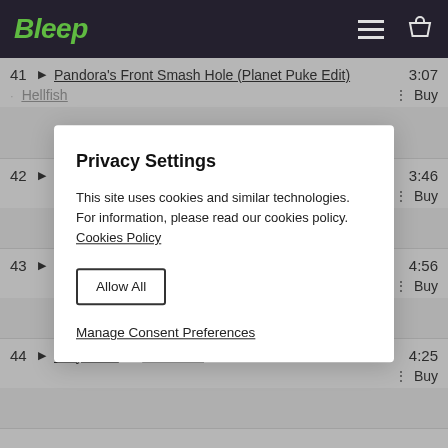Bleep
41 ► Pandora's Front Smash Hole (Planet Puke Edit) · Hellfish 3:07 Buy
42 ► Chain 1 & End · Ed Lawes 3:46 Buy
43 ► Butch (Speedy J Remix) · Slag Boom Van Loon 4:56 Buy
44 ► Dirty Birds · Mark One 4:25 Buy
Privacy Settings
This site uses cookies and similar technologies. For information, please read our cookies policy. Cookies Policy
Allow All
Manage Consent Preferences